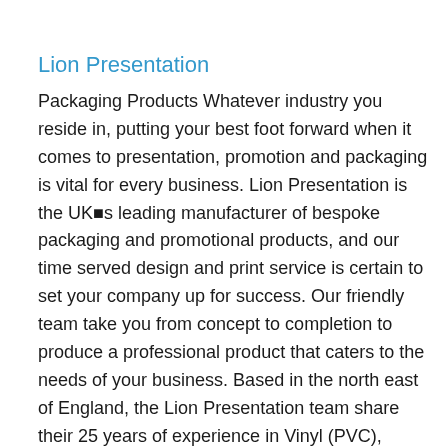Lion Presentation
Packaging Products Whatever industry you reside in, putting your best foot forward when it comes to presentation, promotion and packaging is vital for every business. Lion Presentation is the UK■s leading manufacturer of bespoke packaging and promotional products, and our time served design and print service is certain to set your company up for success. Our friendly team take you from concept to completion to produce a professional product that caters to the needs of your business. Based in the north east of England, the Lion Presentation team share their 25 years of experience in Vinyl (PVC), Polypropylene and Paper Over Board with businesses throughout the UK. At Lion